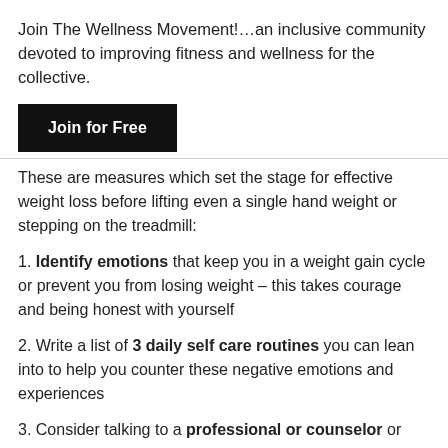Join The Wellness Movement!…an inclusive community devoted to improving fitness and wellness for the collective.
Join for Free
These are measures which set the stage for effective weight loss before lifting even a single hand weight or stepping on the treadmill:
1. Identify emotions that keep you in a weight gain cycle or prevent you from losing weight – this takes courage and being honest with yourself
2. Write a list of 3 daily self care routines you can lean into to help you counter these negative emotions and experiences
3. Consider talking to a professional or counselor or